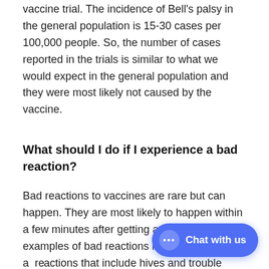vaccine trial. The incidence of Bell's palsy in the general population is 15-30 cases per 100,000 people. So, the number of cases reported in the trials is similar to what we would expect in the general population and they were most likely not caused by the vaccine.
What should I do if I experience a bad reaction?
Bad reactions to vaccines are rare but can happen. They are most likely to happen within a few minutes after getting a vaccine. Some examples of bad reactions include fainting and an... include hives and trouble breathing. We are asking